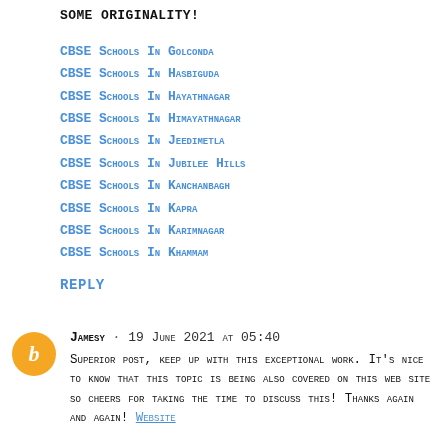some originality!
CBSE Schools In Golconda
CBSE Schools In Hasbiguda
CBSE Schools In Hayathnagar
CBSE Schools In Himayathnagar
CBSE Schools In Jeedimetla
CBSE Schools In Jubilee Hills
CBSE Schools In Kanchanbagh
CBSE Schools In Kapra
CBSE Schools In Karimnagar
CBSE Schools In Khammam
REPLY
Jamesy · 19 June 2021 at 05:40
Superior post, keep up with this exceptional work. It's nice to know that this topic is being also covered on this web site so cheers for taking the time to discuss this! Thanks again and again! Website